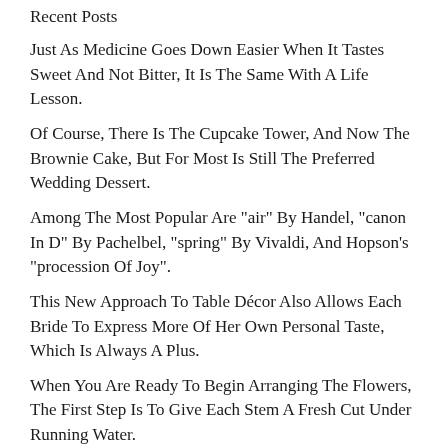Recent Posts
Just As Medicine Goes Down Easier When It Tastes Sweet And Not Bitter, It Is The Same With A Life Lesson.
Of Course, There Is The Cupcake Tower, And Now The Brownie Cake, But For Most Is Still The Preferred Wedding Dessert.
Among The Most Popular Are "air" By Handel, "canon In D" By Pachelbel, "spring" By Vivaldi, And Hopson's "procession Of Joy".
This New Approach To Table Décor Also Allows Each Bride To Express More Of Her Own Personal Taste, Which Is Always A Plus.
When You Are Ready To Begin Arranging The Flowers, The First Step Is To Give Each Stem A Fresh Cut Under Running Water.